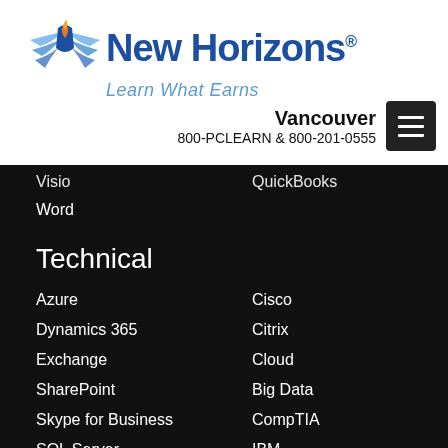[Figure (logo): New Horizons logo with stylized wings and flame icon, tagline 'Learn What Earns']
Vancouver
800-PCLEARN  & 800-201-0555
Visio
QuickBooks
Word
Technical
Azure
Cisco
Dynamics 365
Citrix
Exchange
Cloud
SharePoint
Big Data
Skype for Business
CompTIA
SQL Server
IBM